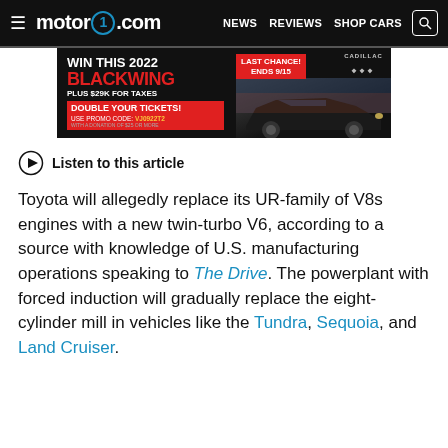motor1.com  NEWS  REVIEWS  SHOP CARS
[Figure (photo): Cadillac advertisement: WIN THIS 2022 BLACKWING PLUS $29K FOR TAXES. DOUBLE YOUR TICKETS! USE PROMO CODE: VJ0922T2. LAST CHANCE! ENDS 9/15. Cadillac logo with a dark sedan car image.]
Listen to this article
Toyota will allegedly replace its UR-family of V8s engines with a new twin-turbo V6, according to a source with knowledge of U.S. manufacturing operations speaking to The Drive. The powerplant with forced induction will gradually replace the eight-cylinder mill in vehicles like the Tundra, Sequoia, and Land Cruiser.